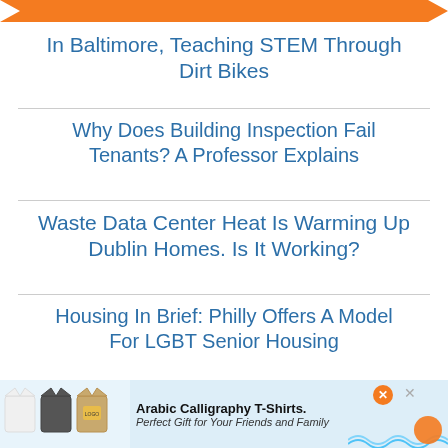In Baltimore, Teaching STEM Through Dirt Bikes
Why Does Building Inspection Fail Tenants? A Professor Explains
Waste Data Center Heat Is Warming Up Dublin Homes. Is It Working?
Housing In Brief: Philly Offers A Model For LGBT Senior Housing
JOB BOARD
Urban Data Analyst
[Figure (infographic): Advertisement banner for Arabic Calligraphy T-Shirts with t-shirt images and text: Arabic Calligraphy T-Shirts. Perfect Gift for Your Friends and Family]